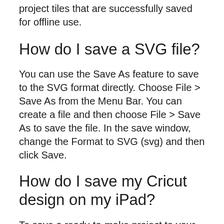project tiles that are successfully saved for offline use.
How do I save a SVG file?
You can use the Save As feature to save to the SVG format directly. Choose File > Save As from the Menu Bar. You can create a file and then choose File > Save As to save the file. In the save window, change the Format to SVG (svg) and then click Save.
How do I save my Cricut design on my iPad?
To save a ready-to-make project to your device, tap the Customize option, then tap